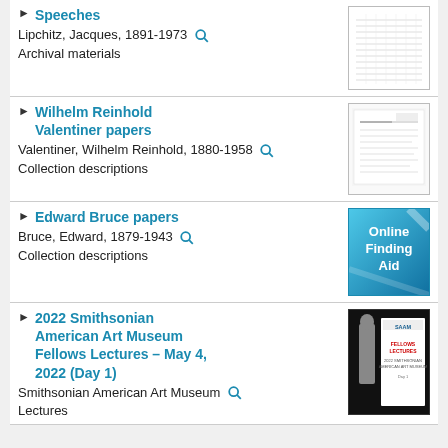Speeches — Lipchitz, Jacques, 1891-1973 — Archival materials
Wilhelm Reinhold Valentiner papers — Valentiner, Wilhelm Reinhold, 1880-1958 — Collection descriptions
Edward Bruce papers — Bruce, Edward, 1879-1943 — Collection descriptions
2022 Smithsonian American Art Museum Fellows Lectures – May 4, 2022 (Day 1) — Smithsonian American Art Museum — Lectures